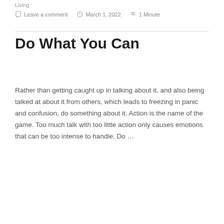Living
Leave a comment   March 1, 2022   1 Minute
Do What You Can
Rather than getting caught up in talking about it, and also being talked at about it from others, which leads to freezing in panic and confusion, do something about it. Action is the name of the game. Too much talk with too little action only causes emotions that can be too intense to handle. Do …
Continue reading